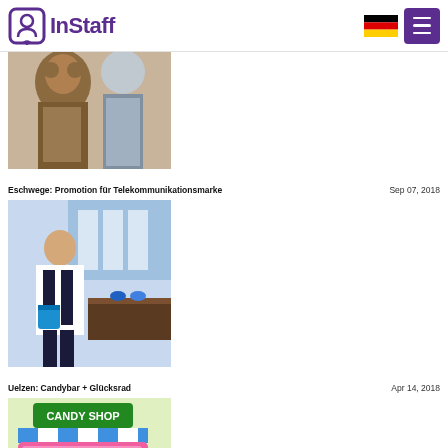InStaff
[Figure (photo): Partial photo of people in animal costumes]
Eschwege: Promotion für Telekommunikationsmarke	Sep 07, 2018
[Figure (photo): Woman in white shirt holding a blue bucket at a telecom promotion booth]
Uelzen: Candybar + Glücksrad	Apr 14, 2018
[Figure (photo): Colorful candy shop display with pink cart and candy arrangements]